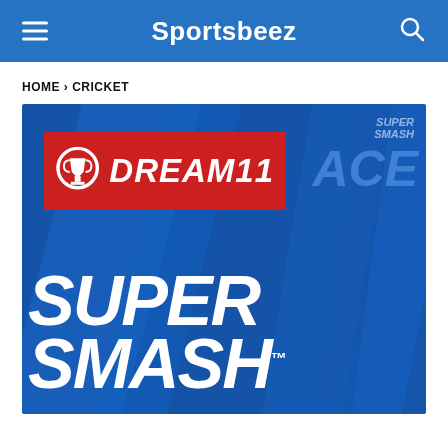Sportsbeez
HOME > CRICKET
[Figure (logo): Dream11 Super Smash cricket tournament promotional image. Blue background with diagonal geometric shapes. Red Dream11 logo banner in the top left. Large white bold italic text reading SUPER SMASH with trademark symbol. ACE watermark text on the right side.]